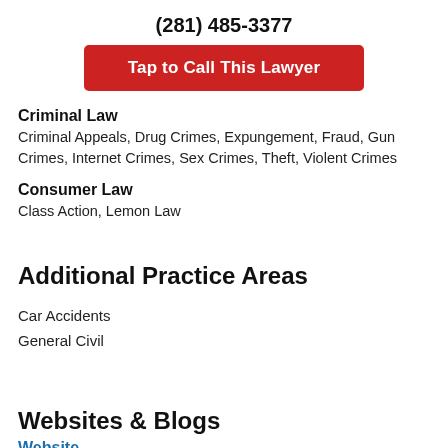(281) 485-3377
[Figure (other): Red call-to-action button: Tap to Call This Lawyer]
Criminal Law
Criminal Appeals, Drug Crimes, Expungement, Fraud, Gun Crimes, Internet Crimes, Sex Crimes, Theft, Violent Crimes
Consumer Law
Class Action, Lemon Law
Additional Practice Areas
Car Accidents
General Civil
Websites & Blogs
Website